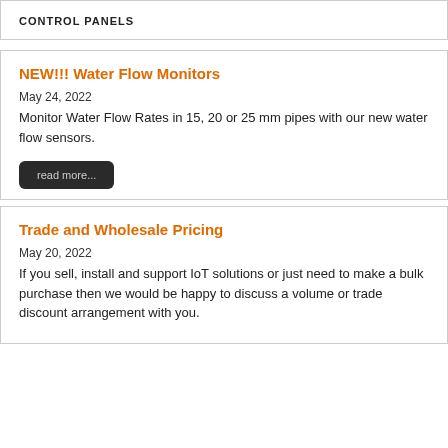CONTROL PANELS
NEW!!! Water Flow Monitors
May 24, 2022
Monitor Water Flow Rates in 15, 20 or 25 mm pipes with our new water flow sensors.
Trade and Wholesale Pricing
May 20, 2022
If you sell, install and support IoT solutions or just need to make a bulk purchase then we would be happy to discuss a volume or trade discount arrangement with you.